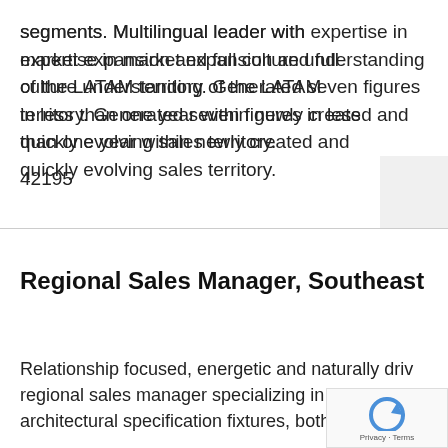segments. Multilingual leader with expertise in market expansion and full culture understanding of the LATAM territory. Generated seven figures in less than one year within newly created and quickly evolving sales territory.
42195
Regional Sales Manager, Southeast
Relationship focused, energetic and naturally driv regional sales manager specializing in high end architectural specification fixtures, both interior and